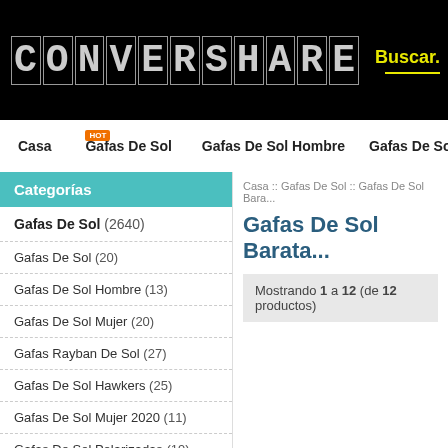CONVERSHARE
Buscar.
Casa
Gafas De Sol
Gafas De Sol Hombre
Gafas De Sol M
Categorías
Gafas De Sol (2640)
Gafas De Sol (20)
Gafas De Sol Hombre (13)
Gafas De Sol Mujer (20)
Gafas Rayban De Sol (27)
Gafas De Sol Hawkers (25)
Gafas De Sol Mujer 2020 (11)
Gafas De Sol Polarizadas (19)
Casa :: Gafas De Sol :: Gafas De Sol Bara...
Gafas De Sol Barata...
Mostrando 1 a 12 (de 12 productos)